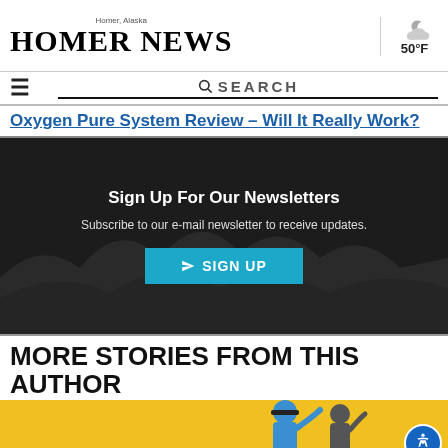Homer News — Homer, Alaska — 50°F
SEARCH
Oxygen Pure System Review – Will It Really Work?
[Figure (infographic): Newsletter signup banner with dark background showing trees/hills, white bold text 'Sign Up For Our Newsletters', subtitle 'Subscribe to our e-mail newsletter to receive updates.', and a teal SIGN UP button with paper plane icon.]
MORE STORIES FROM THIS AUTHOR
[Figure (photo): Bottom portion of a story card with yellow background showing two people, one wearing a blue shirt and baseball cap, waving.]